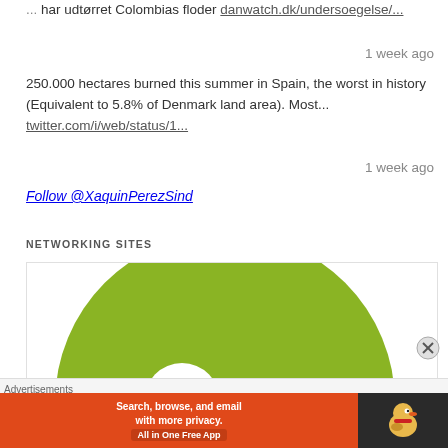... har udtørret Colombias floder danwatch.dk/undersoegelse/...
1 week ago
250.000 hectares burned this summer in Spain, the worst in history (Equivalent to 5.8% of Denmark land area). Most... twitter.com/i/web/status/1...
1 week ago
Follow @XaquinPerezSind
NETWORKING SITES
[Figure (donut-chart): Partial donut/pie chart in olive green color, showing a large green semicircle with a white circle cutout near bottom-left, representing networking site usage. Only the top half is visible.]
Advertisements
[Figure (screenshot): DuckDuckGo advertisement banner: orange background with text 'Search, browse, and email with more privacy. All in One Free App', and DuckDuckGo duck logo on dark background on the right.]